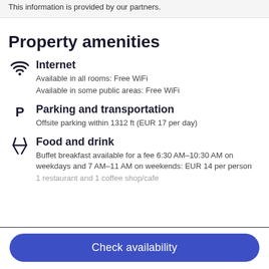This information is provided by our partners.
Property amenities
Internet
Available in all rooms: Free WiFi
Available in some public areas: Free WiFi
Parking and transportation
Offsite parking within 1312 ft (EUR 17 per day)
Food and drink
Buffet breakfast available for a fee 6:30 AM–10:30 AM on weekdays and 7 AM–11 AM on weekends: EUR 14 per person
1 restaurant and 1 coffee shop/cafe
Check availability